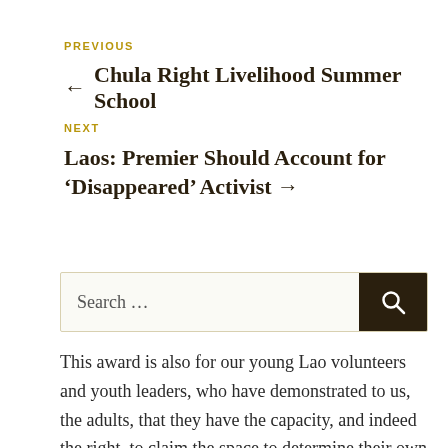PREVIOUS
← Chula Right Livelihood Summer School
NEXT
Laos: Premier Should Account for 'Disappeared' Activist →
[Figure (other): Search input box with dark search button containing a magnifying glass icon]
This award is also for our young Lao volunteers and youth leaders, who have demonstrated to us, the adults, that they have the capacity, and indeed the right, to claim the space to determine their own and their community's